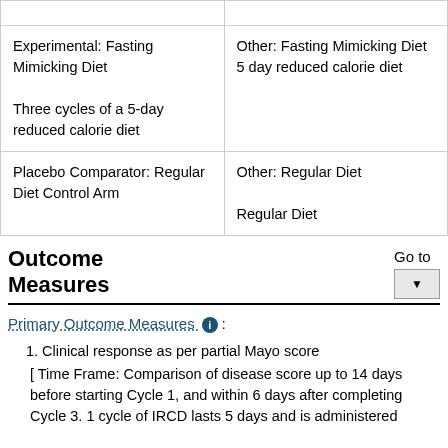| Arm | Intervention/Treatment |
| --- | --- |
| Experimental: Fasting Mimicking Diet
Three cycles of a 5-day reduced calorie diet | Other: Fasting Mimicking Diet
5 day reduced calorie diet |
| Placebo Comparator: Regular Diet Control Arm | Other: Regular Diet
Regular Diet |
Outcome Measures
Go to
Primary Outcome Measures ℹ :
Clinical response as per partial Mayo score [ Time Frame: Comparison of disease score up to 14 days before starting Cycle 1, and within 6 days after completing Cycle 3. 1 cycle of IRCD lasts 5 days and is administered